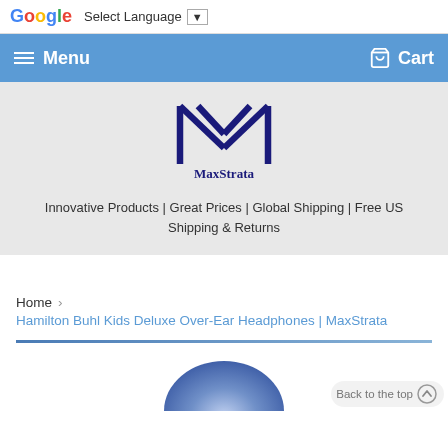Select Language ▼
≡ Menu    Cart
[Figure (logo): MaxStrata logo — stylized M with V shape inside, dark navy blue, with text MaxStrata below]
Innovative Products | Great Prices | Global Shipping | Free US Shipping & Returns
Home › Hamilton Buhl Kids Deluxe Over-Ear Headphones | MaxStrata
[Figure (photo): Partial view of blue/purple kids over-ear headphones product image at bottom of page]
Back to the top